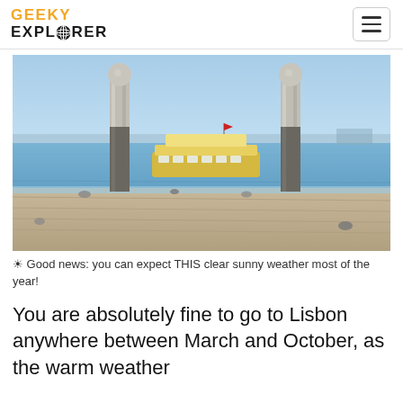GEEKY EXPLORER
[Figure (photo): A waterfront scene in Lisbon with two tall ornamental stone columns/pillars on a pier, a yellow ferry boat visible on the blue water between them, and seagulls on the wet stone dock in the foreground. Clear sunny sky.]
☀ Good news: you can expect THIS clear sunny weather most of the year!
You are absolutely fine to go to Lisbon anywhere between March and October, as the warm weather